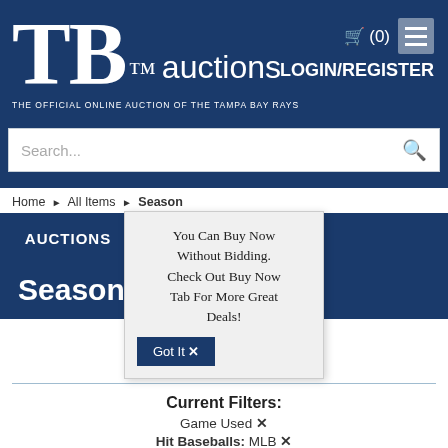[Figure (logo): TB Auctions logo - The Official Online Auction of the Tampa Bay Rays, with shopping cart (0) and LOGIN/REGISTER buttons in navy blue header]
Search...
Home ▶ All Items ▶ Season
AUCTIONS | BUY NOW
You Can Buy Now Without Bidding. Check Out Buy Now Tab For More Great Deals!
Got It ✕
Season
SORT
Bid count: high → low
Current Filters:
Game Used ✕
Hit Baseballs: MLB ✕